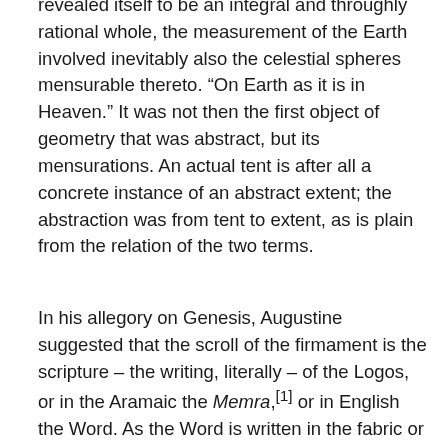revealed itself to be an integral and throughly rational whole, the measurement of the Earth involved inevitably also the celestial spheres mensurable thereto. “On Earth as it is in Heaven.” It was not then the first object of geometry that was abstract, but its mensurations. An actual tent is after all a concrete instance of an abstract extent; the abstraction was from tent to extent, as is plain from the relation of the two terms.
In his allegory on Genesis, Augustine suggested that the scroll of the firmament is the scripture – the writing, literally – of the Logos, or in the Aramaic the Memra,[1] or in English the Word. As the Word is written in the fabric or pellis (cf. “pelt”) of the Book (of Life, and of the Bible), so is it inscribed in the matrix of creatura; the corporeal world is as it were the pelt of her own animating Spirit. When Adam and Eve were expelled from Eden, God made them